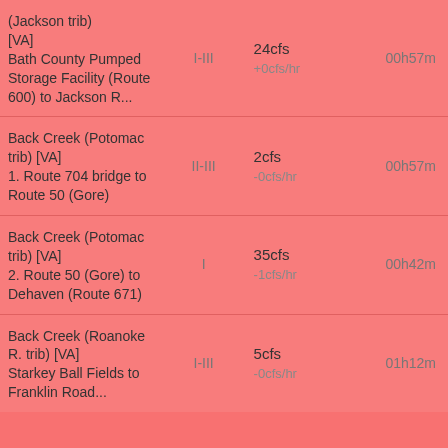| River/Run | Grade | Flow | Time |
| --- | --- | --- | --- |
| (Jackson trib) [VA] Bath County Pumped Storage Facility (Route 600) to Jackson R... | I-III | 24cfs +0cfs/hr | 00h57m |
| Back Creek (Potomac trib) [VA] 1. Route 704 bridge to Route 50 (Gore) | II-III | 2cfs -0cfs/hr | 00h57m |
| Back Creek (Potomac trib) [VA] 2. Route 50 (Gore) to Dehaven (Route 671) | I | 35cfs -1cfs/hr | 00h42m |
| Back Creek (Roanoke R. trib) [VA] Starkey Ball Fields to Franklin Road... | I-III | 5cfs -0cfs/hr | 01h12m |